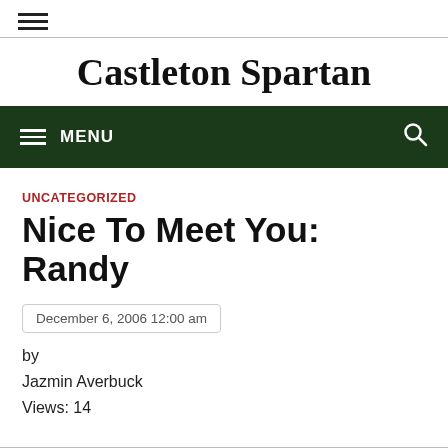Castleton Spartan
MENU
UNCATEGORIZED
Nice To Meet You: Randy
December 6, 2006 12:00 am
by
Jazmin Averbuck
Views: 14